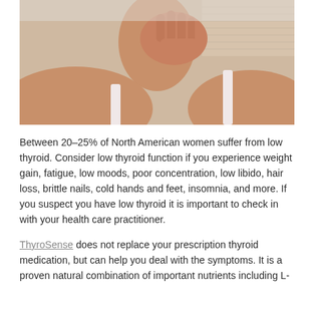[Figure (photo): A woman in a white tank top touching her neck/throat area with her hand, suggesting thyroid discomfort or examination.]
Between 20–25% of North American women suffer from low thyroid. Consider low thyroid function if you experience weight gain, fatigue, low moods, poor concentration, low libido, hair loss, brittle nails, cold hands and feet, insomnia, and more. If you suspect you have low thyroid it is important to check in with your health care practitioner.
ThyroSense does not replace your prescription thyroid medication, but can help you deal with the symptoms. It is a proven natural combination of important nutrients including L-